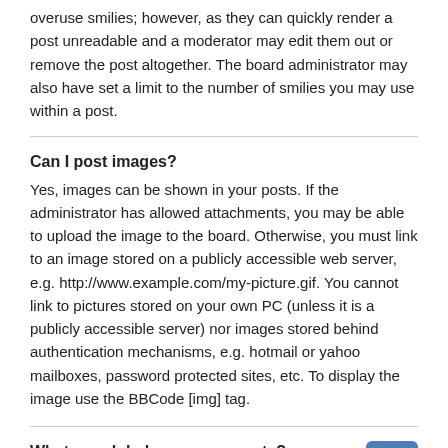overuse smilies; however, as they can quickly render a post unreadable and a moderator may edit them out or remove the post altogether. The board administrator may also have set a limit to the number of smilies you may use within a post.
Can I post images?
Yes, images can be shown in your posts. If the administrator has allowed attachments, you may be able to upload the image to the board. Otherwise, you must link to an image stored on a publicly accessible web server, e.g. http://www.example.com/my-picture.gif. You cannot link to pictures stored on your own PC (unless it is a publicly accessible server) nor images stored behind authentication mechanisms, e.g. hotmail or yahoo mailboxes, password protected sites, etc. To display the image use the BBCode [img] tag.
What are global announcements?
Global announcements contain important information and you should read them whenever possible. They will